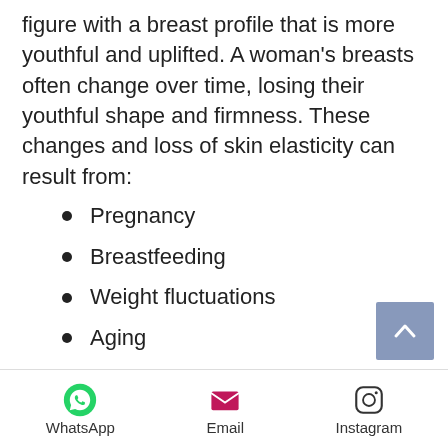figure with a breast profile that is more youthful and uplifted. A woman's breasts often change over time, losing their youthful shape and firmness. These changes and loss of skin elasticity can result from:
Pregnancy
Breastfeeding
Weight fluctuations
Aging
Gravity
Heredity
What breast lift surgery
WhatsApp  Email  Instagram